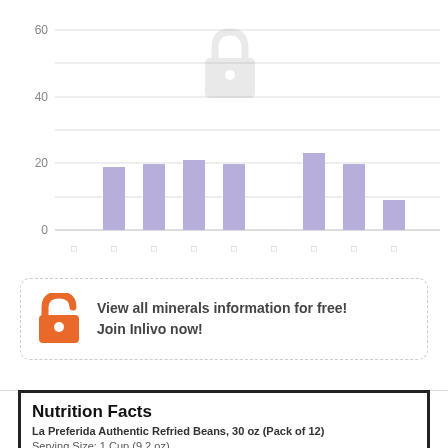[Figure (bar-chart): Minerals chart (partial/blurred)]
View all minerals information for free! Join Inlivo now!
NUTRITION LABEL
(% of daily value based on 2000 calories per day)
| Nutrition Facts |
| La Preferida Authentic Refried Beans, 30 oz (Pack of 12) |
| Serving Size: 1 Cup (9.2 oz) |